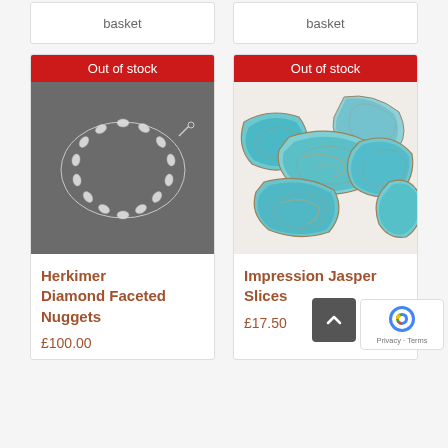basket
basket
Out of stock
[Figure (photo): Herkimer diamond faceted nuggets bracelet on dark grey background]
Herkimer Diamond Faceted Nuggets
£100.00
Out of stock
[Figure (photo): Impression jasper slices - turquoise/teal coloured flat stone pieces on white background]
Impression Jasper Slices
£17.50